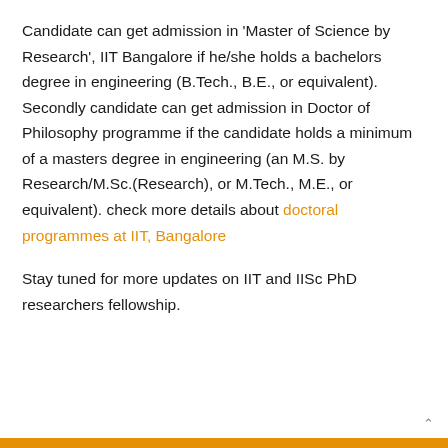Candidate can get admission in 'Master of Science by Research', IIT Bangalore if he/she holds a bachelors degree in engineering (B.Tech., B.E., or equivalent). Secondly candidate can get admission in Doctor of Philosophy programme if the candidate holds a minimum of a masters degree in engineering (an M.S. by Research/M.Sc.(Research), or M.Tech., M.E., or equivalent). check more details about doctoral programmes at IIT, Bangalore
Stay tuned for more updates on IIT and IISc PhD researchers fellowship.